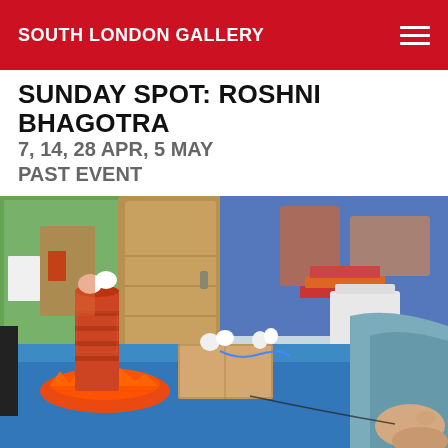SOUTH LONDON GALLERY
SUNDAY SPOT: ROSHNI BHAGOTRA
7, 14, 28 APR, 5 MAY
PAST EVENT
[Figure (photo): Children's craft workshop scene at South London Gallery showing handmade models on a blue table including a tin can volcano with orange/red 'lava', wooden box constructions with white marshmallows, a white plastic chair, and a child's arm and hand in a teal/grey sleeve. Colourful classroom decorations and a wooden door are visible in the background.]